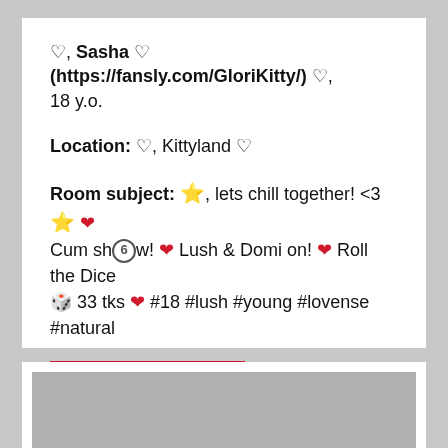♡, Sasha ♡ (https://fansly.com/GloriKitty/) ♡, 18 y.o.
Location: ♡, Kittyland ♡
Room subject: ⭐, lets chill together! <3 ⭐ ❤ Cum sh🔞w! ❤ Lush & Domi on! ❤ Roll the Dice 🎲 33 tks ❤ #18 #lush #young #lovense #natural
My Live Cam >>
[Figure (photo): Gray placeholder image at the bottom of the page]